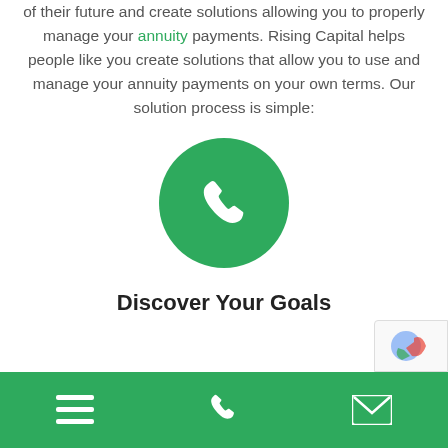of their future and create solutions allowing you to properly manage your annuity payments. Rising Capital helps people like you create solutions that allow you to use and manage your annuity payments on your own terms. Our solution process is simple:
[Figure (illustration): Green circle with white phone handset icon]
Discover Your Goals
Navigation bar with hamburger menu, phone, and email icons